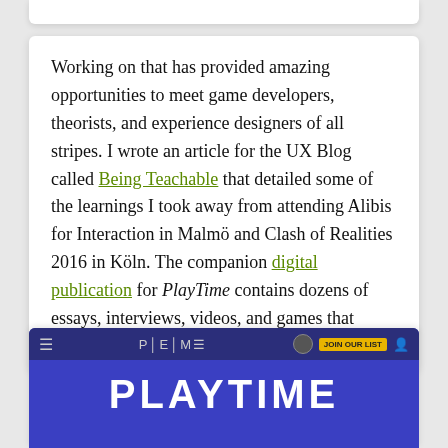Working on that has provided amazing opportunities to meet game developers, theorists, and experience designers of all stripes. I wrote an article for the UX Blog called Being Teachable that detailed some of the learnings I took away from attending Alibis for Interaction in Malmö and Clash of Realities 2016 in Köln. The companion digital publication for PlayTime contains dozens of essays, interviews, videos, and games that expand on the themes of the exhibition.
[Figure (screenshot): Screenshot of the PlayTime digital publication website showing a dark blue navigation bar with hamburger menu, PEM logo, and join mailing list button, and a large white bold PLAYTIME title on a dark blue background.]